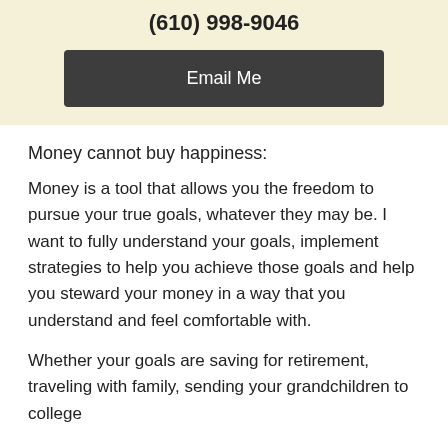(610) 998-9046
[Figure (other): Dark gray button labeled 'Email Me']
Money cannot buy happiness:
Money is a tool that allows you the freedom to pursue your true goals, whatever they may be. I want to fully understand your goals, implement strategies to help you achieve those goals and help you steward your money in a way that you understand and feel comfortable with.
Whether your goals are saving for retirement, traveling with family, sending your grandchildren to college